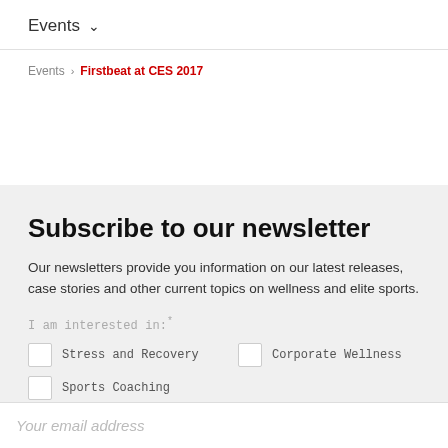Events ∨
Events > Firstbeat at CES 2017
Subscribe to our newsletter
Our newsletters provide you information on our latest releases, case stories and other current topics on wellness and elite sports.
I am interested in:*
Stress and Recovery
Corporate Wellness
Sports Coaching
Your email address